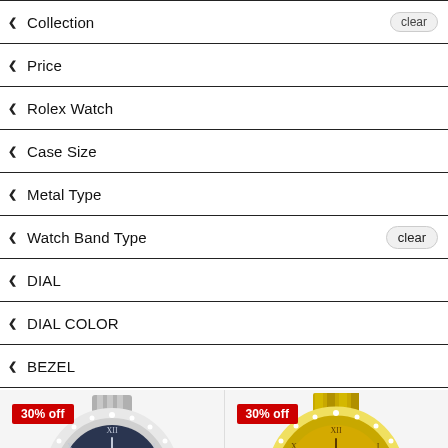Collection
Price
Rolex Watch
Case Size
Metal Type
Watch Band Type
DIAL
DIAL COLOR
BEZEL
[Figure (photo): Rolex watch with diamond bezel, dark blue/grey dial with Roman numerals and date window, steel jubilee bracelet. 30% off badge top left.]
[Figure (photo): Rolex watch with diamond bezel, gold/champagne pave diamond dial with Roman numerals and date window, two-tone gold and steel bracelet. 30% off badge top left.]